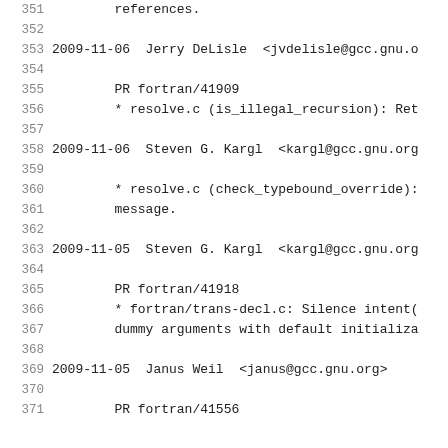351    references.
352
353    2009-11-06  Jerry DeLisle  <jvdelisle@gcc.gnu.o
354
355         PR fortran/41909
356         * resolve.c (is_illegal_recursion): Ret
357
358    2009-11-06  Steven G. Kargl  <kargl@gcc.gnu.org
359
360         * resolve.c (check_typebound_override):
361         message.
362
363    2009-11-05  Steven G. Kargl  <kargl@gcc.gnu.org
364
365         PR fortran/41918
366         * fortran/trans-decl.c: Silence intent(
367         dummy arguments with default initializa
368
369    2009-11-05  Janus Weil  <janus@gcc.gnu.org>
370
371         PR fortran/41556